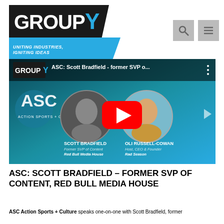[Figure (logo): Group Y logo — white text 'GROUPY' (with large Y) on black trapezoid shape, with blue diagonal band below reading 'UNITING INDUSTRIES, IGNITING IDEAS']
[Figure (screenshot): YouTube video thumbnail for 'ASC: Scott Bradfield - former SVP o...' showing two circular portraits: Scott Bradfield (Former SVP of Content, Red Bull Media House) and Oli Russell-Cowan (Host, CEO & Founder, Rad Season), with red YouTube play button in center, on teal/blue gradient background with Group Y and ASC Action Sports + Culture branding]
ASC: SCOTT BRADFIELD – FORMER SVP OF CONTENT, RED BULL MEDIA HOUSE
ASC Action Sports + Culture speaks one-on-one with Scott Bradfield, former